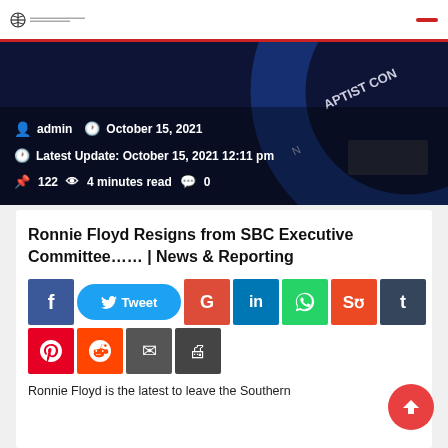[Figure (photo): Dark background with Southern Baptist Convention logo/seal, with meta information overlay: admin, October 15, 2021; Latest Update: October 15, 2021 12:11 pm; 122 views; 4 minutes read; 0 comments]
Ronnie Floyd Resigns from SBC Executive Committee…… | News & Reporting
[Figure (infographic): Social share buttons row 1: Facebook, Tweet, Google, LinkedIn, WhatsApp, StumbleUpon, Tumblr; row 2: Pinterest, Reddit, Email, Print]
Ronnie Floyd is the latest to leave the Southern